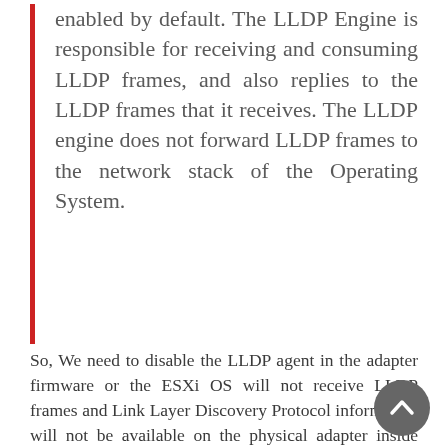enabled by default. The LLDP Engine is responsible for receiving and consuming LLDP frames, and also replies to the LLDP frames that it receives. The LLDP engine does not forward LLDP frames to the network stack of the Operating System.
So, We need to disable the LLDP agent in the adapter firmware or the ESXi OS will not receive LLDP frames and Link Layer Discovery Protocol information will not be available on the physical adapter inside ESXi. To do so, we need to update the driver from 1.3.1 currently to a minimum version of 1.5.6.